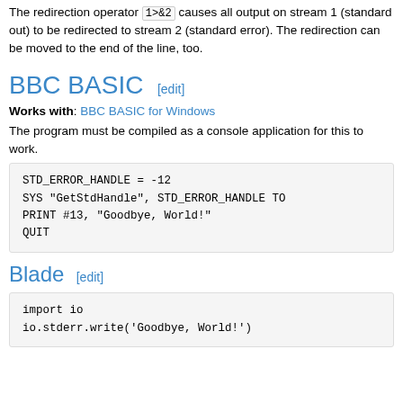The redirection operator 1>&2 causes all output on stream 1 (standard out) to be redirected to stream 2 (standard error). The redirection can be moved to the end of the line, too.
BBC BASIC [edit]
Works with: BBC BASIC for Windows
The program must be compiled as a console application for this to work.
STD_ERROR_HANDLE = -12
SYS "GetStdHandle", STD_ERROR_HANDLE TO...
PRINT #13, "Goodbye, World!"
QUIT
Blade [edit]
import io
io.stderr.write('Goodbye, World!')